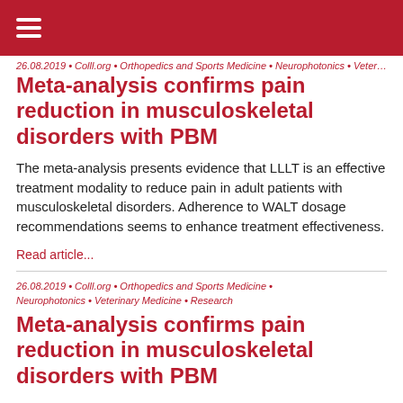26.08.2019 • Colll.org • Orthopedics and Sports Medicine • Neurophotonics • Veterinary Medicine • Research
Meta-analysis confirms pain reduction in musculoskeletal disorders with PBM
The meta-analysis presents evidence that LLLT is an effective treatment modality to reduce pain in adult patients with musculoskeletal disorders. Adherence to WALT dosage recommendations seems to enhance treatment effectiveness.
Read article...
26.08.2019 • Colll.org • Orthopedics and Sports Medicine • Neurophotonics • Veterinary Medicine • Research
Meta-analysis confirms pain reduction in musculoskeletal disorders with PBM